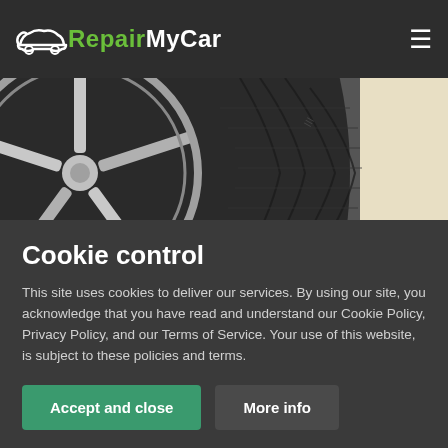RepairMyCar
[Figure (photo): Close-up photo of a chrome car wheel and tire tread on a beige/cream background]
Cookie control
This site uses cookies to deliver our services. By using our site, you acknowledge that you have read and understand our Cookie Policy, Privacy Policy, and our Terms of Service. Your use of this website, is subject to these policies and terms.
Accept and close
More info